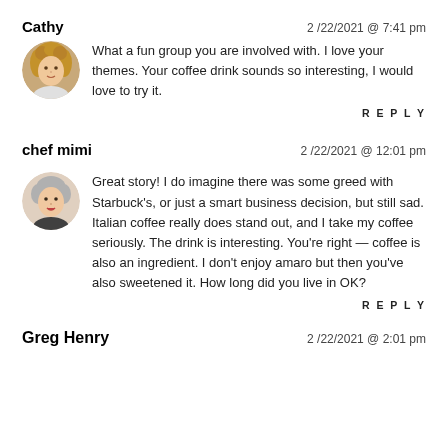Cathy
2 /22/2021 @ 7:41 pm
What a fun group you are involved with. I love your themes. Your coffee drink sounds so interesting, I would love to try it.
REPLY
chef mimi
2 /22/2021 @ 12:01 pm
Great story! I do imagine there was some greed with Starbuck's, or just a smart business decision, but still sad. Italian coffee really does stand out, and I take my coffee seriously. The drink is interesting. You're right — coffee is also an ingredient. I don't enjoy amaro but then you've also sweetened it. How long did you live in OK?
REPLY
Greg Henry
2 /22/2021 @ 2:01 pm